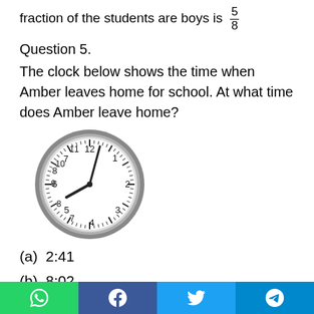fraction of the students are boys is 5/8
Question 5.
The clock below shows the time when Amber leaves home for school. At what time does Amber leave home?
[Figure (illustration): Analog clock showing approximately 8:02, with hour hand pointing near 8 and minute hand pointing near 12 (just past 12)]
(a) 2:41
(b) 8:02
(c) 8:10
(d) 8:20
Social share buttons: WhatsApp, Facebook, Twitter, Telegram